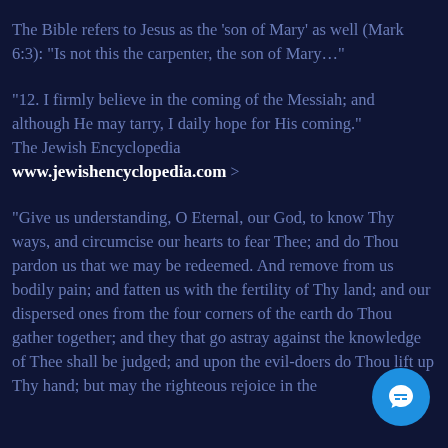The Bible refers to Jesus as the 'son of Mary' as well (Mark 6:3): "Is not this the carpenter, the son of Mary…"
"12. I firmly believe in the coming of the Messiah; and although He may tarry, I daily hope for His coming." The Jewish Encyclopedia www.jewishencyclopedia.com >
"Give us understanding, O Eternal, our God, to know Thy ways, and circumcise our hearts to fear Thee; and do Thou pardon us that we may be redeemed. And remove from us bodily pain; and fatten us with the fertility of Thy land; and our dispersed ones from the four corners of the earth do Thou gather together; and they that go astray against the knowledge of Thee shall be judged; and upon the evil-doers do Thou lift up Thy hand; but may the righteous rejoice in the